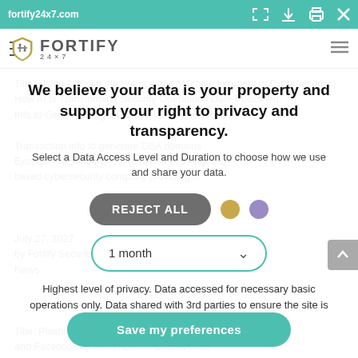fortify24x7.com
[Figure (logo): Fortify 24x7 logo with shield icon and navigation bar]
We believe your data is your property and support your right to privacy and transparency.
Select a Data Access Level and Duration to choose how we use and share your data.
REJECT ALL
1 month
July 27, 2022
Highest level of privacy. Data accessed for necessary basic operations only. Data shared with 3rd parties to ensure the site is secure and works on your device
Title: Phishing Attacks Skyrocket With Microsoft and Facebook as Most Abused Brands Date Published: July 26, 2022 Phishing Attacks Skyrocket with Microsoft and Facebook as Most Abused Brands Excerpt: "The bloom is back on...
Save my preferences